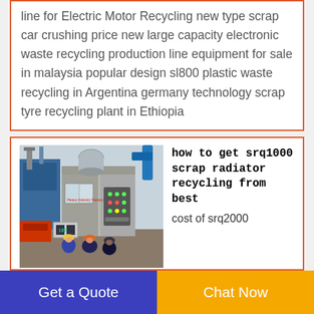line for Electric Motor Recycling new type scrap car crushing price new large capacity electronic waste recycling production line equipment for sale in malaysia popular design sl800 plastic waste recycling in Argentina germany technology scrap tyre recycling plant in Ethiopia
[Figure (photo): Industrial recycling machinery facility with workers in hard hats viewing large equipment]
how to get srq1000 scrap radiator recycling from best
cost of srq2000 scrap radiator recycling from professional price list of scrap
Get a Quote
Chat Now